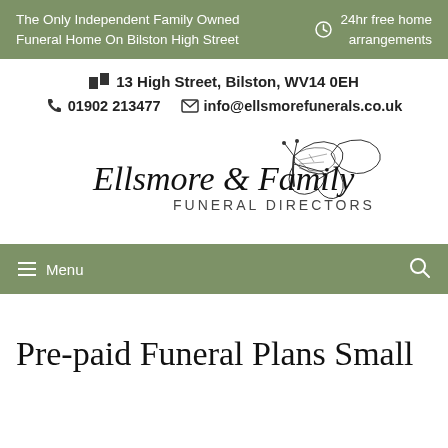The Only Independent Family Owned Funeral Home On Bilston High Street | 24hr free home arrangements
🗺 13 High Street, Bilston, WV14 0EH | 📞 01902 213477 | ✉ info@ellsmorefunerals.co.uk
[Figure (logo): Ellsmore & Family Funeral Directors logo with butterfly illustration]
≡ Menu
Pre-paid Funeral Plans Small